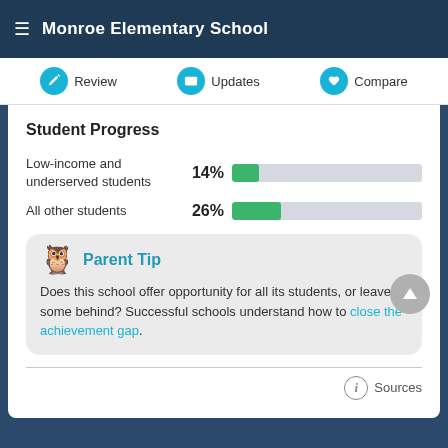Monroe Elementary School
Student Progress
[Figure (bar-chart): Student Progress]
Parent Tip
Does this school offer opportunity for all its students, or leave some behind? Successful schools understand how to close the achievement gap.
Sources